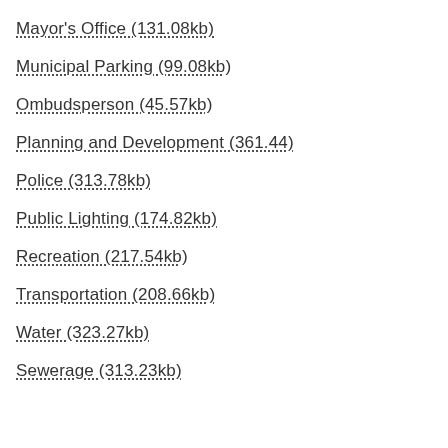Mayor's Office (131.08kb)
Municipal Parking (99.08kb)
Ombudsperson (45.57kb)
Planning and Development (361.44)
Police (313.78kb)
Public Lighting (174.82kb)
Recreation (217.54kb)
Transportation (208.66kb)
Water (323.27kb)
Sewerage (313.23kb)